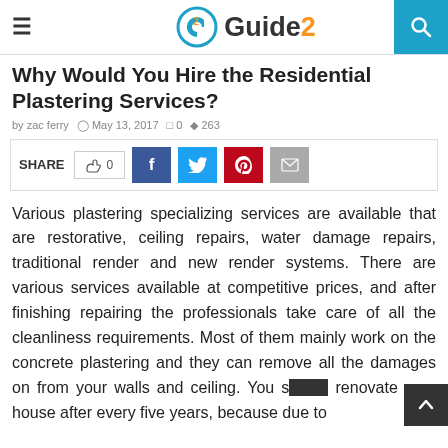Guide2 — site header with logo, hamburger menu, and search button
Why Would You Hire the Residential Plastering Services?
by zac ferry  May 13, 2017  0  263
[Figure (infographic): Share bar with like button (thumbs up, 0), Facebook, Twitter, Pinterest, and email social share buttons]
Various plastering specializing services are available that are restorative, ceiling repairs, water damage repairs, traditional render and new render systems. There are various services available at competitive prices, and after finishing repairing the professionals take care of all the cleanliness requirements. Most of them mainly work on the concrete plastering and they can remove all the damages on from your walls and ceiling. You should renovate your house after every five years, because due to